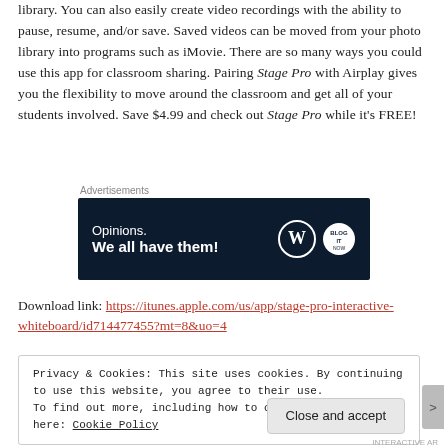library. You can also easily create video recordings with the ability to pause, resume, and/or save. Saved videos can be moved from your photo library into programs such as iMovie. There are so many ways you could use this app for classroom sharing. Pairing Stage Pro with Airplay gives you the flexibility to move around the classroom and get all of your students involved. Save $4.99 and check out Stage Pro while it's FREE!
Advertisements
[Figure (other): Advertisement banner with dark navy background. Text reads 'Opinions. We all have them!' with WordPress logo and another circular logo on the right.]
Download link: https://itunes.apple.com/us/app/stage-pro-interactive-whiteboard/id714477455?mt=8&uo=4
Privacy & Cookies: This site uses cookies. By continuing to use this website, you agree to their use.
To find out more, including how to control cookies, see here: Cookie Policy
Close and accept